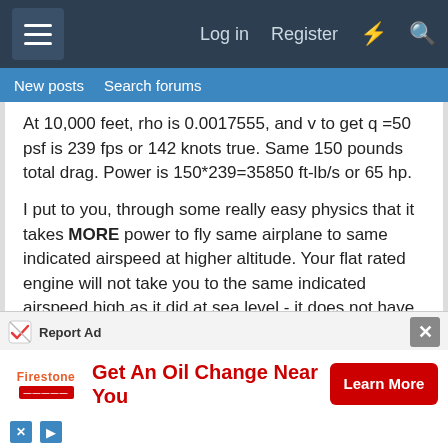Log in  Register
New posts  Search forums
At 10,000 feet, rho is 0.0017555, and v to get q =50 psf is 239 fps or 142 knots true. Same 150 pounds total drag. Power is 150*239=35850 ft-lb/s or 65 hp.
I put to you, through some really easy physics that it takes MORE power to fly same airplane to same indicated airspeed at higher altitude. Your flat rated engine will not take you to the same indicated airspeed high as it did at sea level - it does not have enough power...
Let's answer the "same power" question at two altitudes. First off we have to make some assumptions.
[Figure (screenshot): Advertisement banner: Firestone - Get An Oil Change Near You with Learn More button]